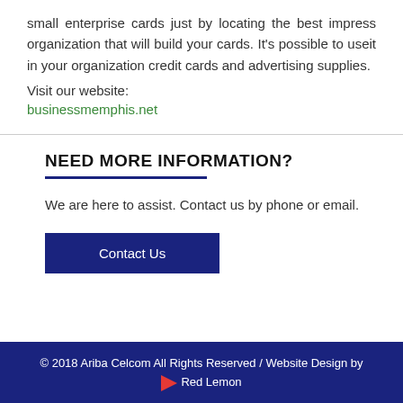small enterprise cards just by locating the best impress organization that will build your cards. It's possible to useit in your organization credit cards and advertising supplies.
Visit our website:
businessmemphis.net
NEED MORE INFORMATION?
We are here to assist. Contact us by phone or email.
Contact Us
© 2018 Ariba Celcom All Rights Reserved / Website Design by Red Lemon